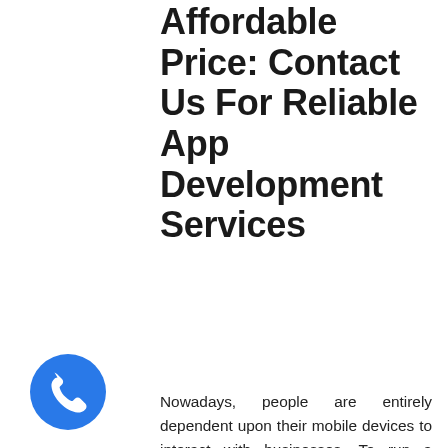Affordable Price: Contact Us For Reliable App Development Services
Nowadays, people are entirely dependent upon their mobile devices to interact with businesses. To run a business successfully, a businessperson should have a substantial online presence along with providing a great mobile experience for the customers. Due to the presence of many devices, it is essential to create an application with a single app development platform. Sencha Touch develops apps that work
[Figure (illustration): Blue circular phone/call button icon in bottom left corner]